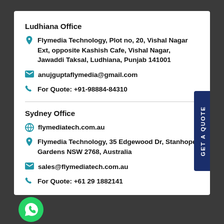Ludhiana Office
Flymedia Technology, Plot no, 20, Vishal Nagar Ext, opposite Kashish Cafe, Vishal Nagar, Jawaddi Taksal, Ludhiana, Punjab 141001
anujguptaflymedia@gmail.com
For Quote: +91-98884-84310
Sydney Office
flymediatech.com.au
Flymedia Technology, 35 Edgewood Dr, Stanhope Gardens NSW 2768, Australia
sales@flymediatech.com.au
For Quote: +61 29 1882141
[Figure (logo): WhatsApp green chat bubble logo at bottom left]